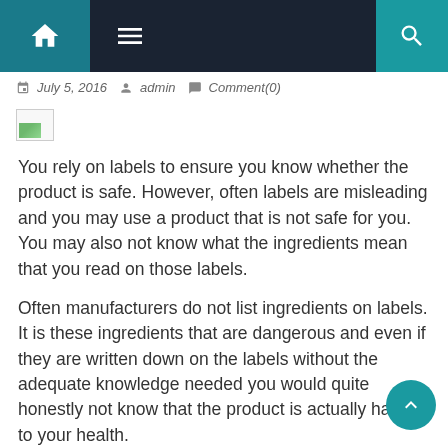Navigation bar with home, menu, and search icons
July 5, 2016  admin  Comment(0)
[Figure (other): Broken image placeholder with small green graphic]
You rely on labels to ensure you know whether the product is safe. However, often labels are misleading and you may use a product that is not safe for you. You may also not know what the ingredients mean that you read on those labels.
Often manufacturers do not list ingredients on labels. It is these ingredients that are dangerous and even if they are written down on the labels without the adequate knowledge needed you would quite honestly not know that the product is actually harmful to your health.
Due to this, we made a list of the dangerous ingredients, cancer-causing products that are present n everyone's h...